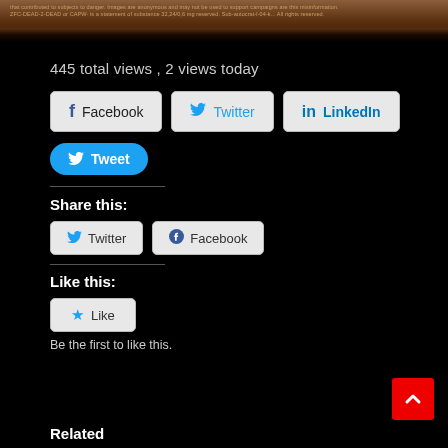[Figure (photo): Top banner image showing a parchment/scroll with small text, brown and orange tones, fading to black at bottom]
445 total views , 2 views today
[Figure (screenshot): Facebook share button]
[Figure (screenshot): Twitter share button]
[Figure (screenshot): LinkedIn share button]
[Figure (screenshot): Tweet button (blue rounded)]
Share this:
[Figure (screenshot): Twitter share button (smaller)]
[Figure (screenshot): Facebook share button (smaller)]
Like this:
[Figure (screenshot): Like button with star icon]
Be the first to like this.
Related